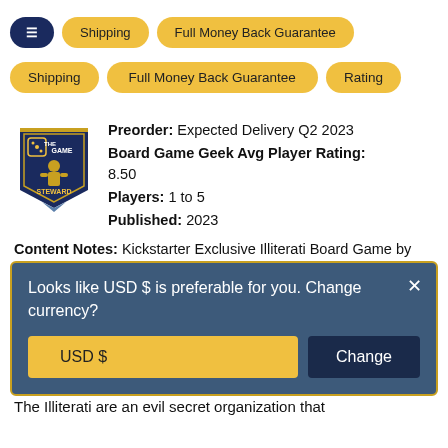Shipping
Full Money Back Guarantee
Rating
[Figure (logo): The Game Steward logo — dark navy shield with gold game piece icons and text 'THE GAME STEWARD']
Preorder: Expected Delivery Q2 2023
Board Game Geek Avg Player Rating: 8.50
Players: 1 to 5
Published: 2023
Content Notes: Kickstarter Exclusive Illiterati Board Game by Gap Closer Games. Includes core game, dual layered chipboard burn tracker, 2
Looks like USD $ is preferable for you. Change currency?
USD $
Change
The Illiterati are an evil secret organization that